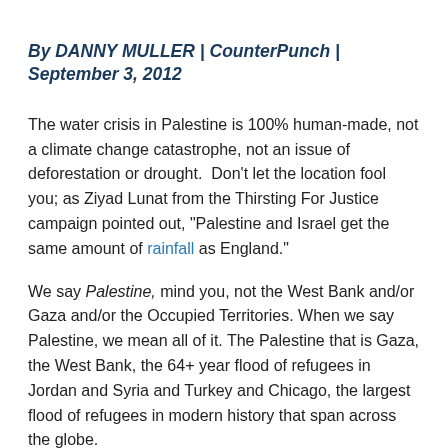By DANNY MULLER | CounterPunch | September 3, 2012
The water crisis in Palestine is 100% human-made, not a climate change catastrophe, not an issue of deforestation or drought.  Don't let the location fool you; as Ziyad Lunat from the Thirsting For Justice campaign pointed out, "Palestine and Israel get the same amount of rainfall as England."
We say Palestine, mind you, not the West Bank and/or Gaza and/or the Occupied Territories. When we say Palestine, we mean all of it. The Palestine that is Gaza, the West Bank, the 64+ year flood of refugees in Jordan and Syria and Turkey and Chicago, the largest flood of refugees in modern history that span across the globe.